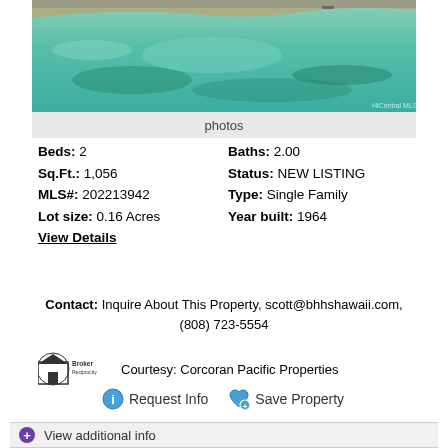[Figure (photo): Aerial view of a beach with turquoise/green ocean water and sandy shore with rocks]
photos
Beds: 2   Baths: 2.00
Sq.Ft.: 1,056   Status: NEW LISTING
MLS#: 202213942   Type: Single Family
Lot size: 0.16 Acres   Year built: 1964
View Details
Contact: Inquire About This Property, scott@bhhshawaii.com, (808) 723-5554
Courtesy: Corcoran Pacific Properties
Request Info   Save Property
View additional info